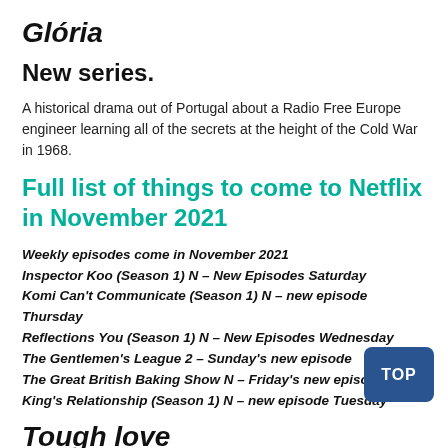Glória
New series.
A historical drama out of Portugal about a Radio Free Europe engineer learning all of the secrets at the height of the Cold War in 1968.
Full list of things to come to Netflix in November 2021
Weekly episodes come in November 2021
Inspector Koo (Season 1) N – New Episodes Saturday
Komi Can't Communicate (Season 1) N – new episode Thursday
Reflections You (Season 1) N – New Episodes Wednesday
The Gentlemen's League 2 – Sunday's new episode
The Great British Baking Show N – Friday's new episode
King's Relationship (Season 1) N – new episode Tuesday
Tough love